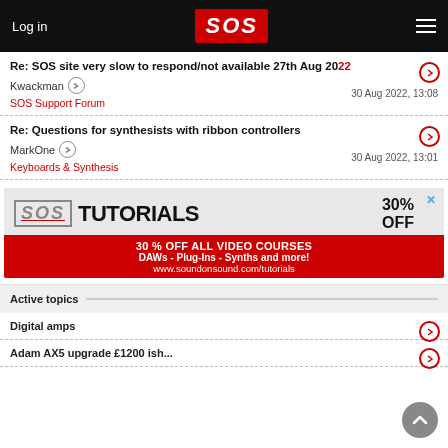Log in | SOS | Menu
Re: SOS site very slow to respond/not available 27th Aug 2022
Kwackman
SOS Support Forum | 30 Aug 2022, 13:08
Re: Questions for synthesists with ribbon controllers
MarkOne
Keyboards & Synthesis | 30 Aug 2022, 13:01
[Figure (screenshot): SOS Tutorials advertisement banner: 30% OFF ALL VIDEO COURSES, DAWs - Plug-Ins - Synths and more!, www.soundonsound.com/tutorials]
Active topics
Digital amps
Adam AX5 upgrade £1200 ish...